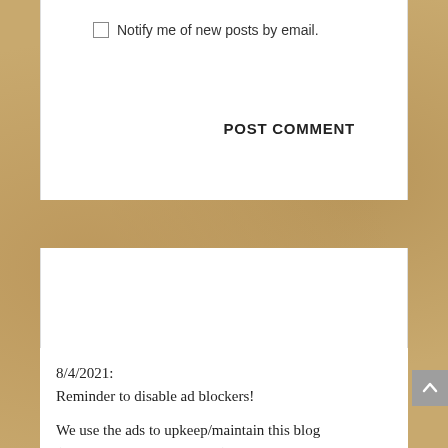Notify me of new posts by email.
POST COMMENT
AINUSHIAN RAMBLINGS
8/4/2021:
Reminder to disable ad blockers!
We use the ads to upkeep/maintain this blog (server + domain costs a lot)
As the only project that's updated regularly is Loner and Juliet, we intend to eventually convert and maintain an archive for projects for at least another 5-10 years down the line, if there's a